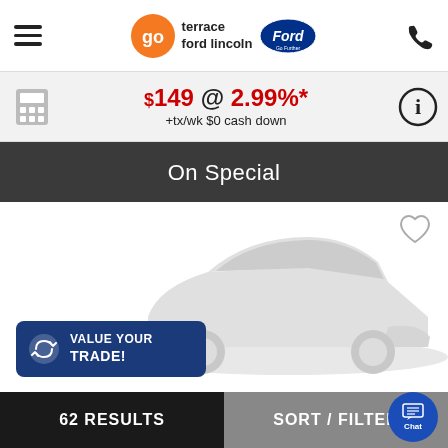Go Terrace Ford Lincoln
$149 @ 2.99%* +tx/wk $0 cash down
On Special
[Figure (illustration): Placeholder car silhouette image with heart/favorite icon in top right corner]
VALUE YOUR TRADE!
62 RESULTS   SORT / FILTER   Chat